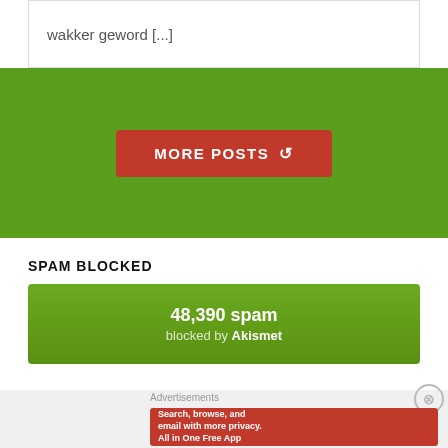wakker geword [...]
[Figure (screenshot): Green background section with a red 'MORE POSTS' button with refresh icon]
SPAM BLOCKED
48,390 spam blocked by Akismet
[Figure (screenshot): DuckDuckGo advertisement banner: Search, browse, and email with more privacy. All in One Free App with DuckDuckGo logo and phone mockup]